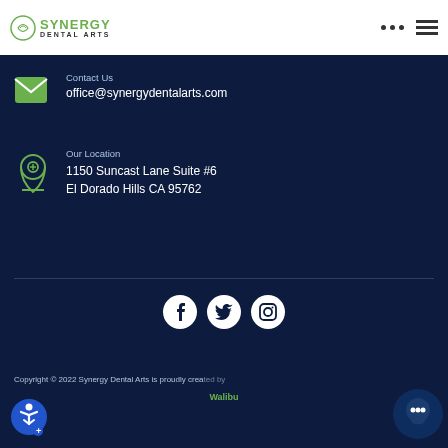Synergy Dental Arts
Contact Us
office@synergydentalarts.com
Our Location
1150 Suncast Lane Suite #6
El Dorado Hills CA 95762
[Figure (other): Social media icons: Facebook, Twitter, Instagram in white circles on dark navy background]
Copyright © 2022 Synergy Dental Arts is proudly created by Walibu